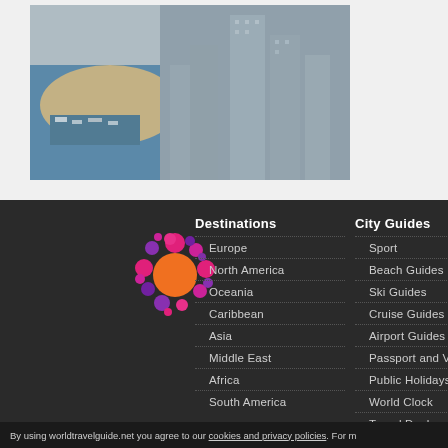[Figure (photo): Aerial view of a coastal city with tall modern buildings, a sandy beach, marina with boats, and blue ocean water.]
[Figure (logo): World Travel Guide logo: colorful circle of pink, magenta, purple, and orange dots orbiting a central orange circle.]
Destinations
Europe
North America
Oceania
Caribbean
Asia
Middle East
Africa
South America
City Guides
Sport
Beach Guides
Ski Guides
Cruise Guides
Airport Guides
Passport and Visa
Public Holidays
World Clock
Travel Deals
Travel Insurance
By using worldtravelguide.net you agree to our cookies and privacy policies. For m